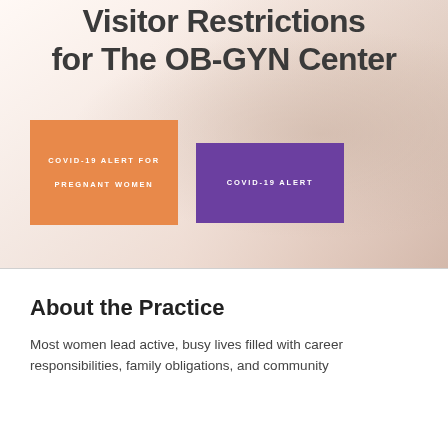[Figure (photo): Hero banner with a pregnant woman in the background and overlaid title text 'Visitor Restrictions for The OB-GYN Center', with two colored buttons: orange button labeled 'COVID-19 ALERT FOR PREGNANT WOMEN' and purple button labeled 'COVID-19 ALERT']
About the Practice
Most women lead active, busy lives filled with career responsibilities, family obligations, and community